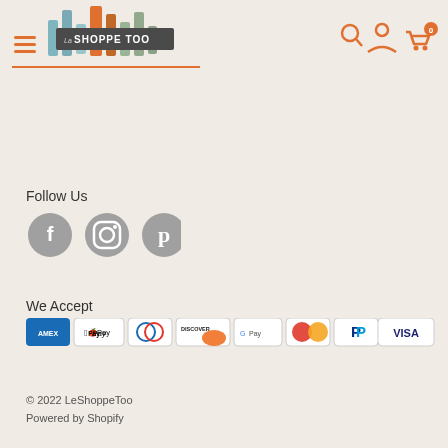[Figure (logo): La Shoppe Too logo with colorful vertical bars and text on dark background, hamburger menu icon on left, search/account/cart icons on right with orange underline]
Follow Us
[Figure (illustration): Three grey circular social media icons: Facebook, Instagram, Pinterest]
We Accept
[Figure (illustration): Payment method icons: Amex, Apple Pay, Diners Club, Discover, Google Pay, Mastercard, PayPal, Venmo, Visa]
© 2022 LeShoppeToo
Powered by Shopify